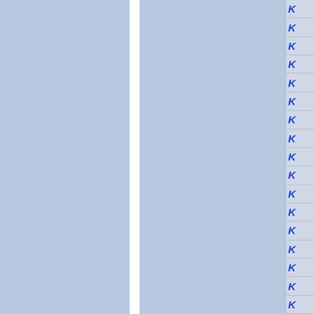[Figure (other): Two blue panels separated by a white vertical divider strip, with a right sidebar containing rows of italic bold blue letter K on light gray background]
K
K
K
K
K
K
K
K
K
K
K
K
K
K
K
K
K